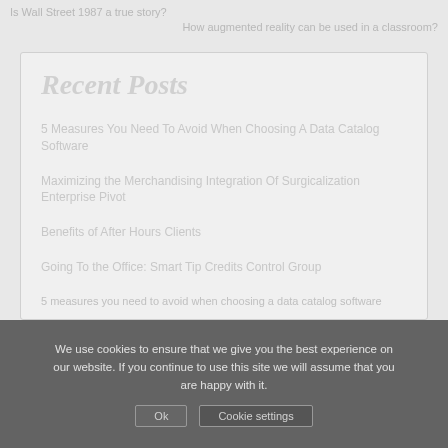Is Wall Street 1987 a true story?
How augmented reality can be used in a classroom?
Recent Posts
5 Measures You Need To Avoid When Choosing A Data Catalog Software
Maximizing the Merchandising Integration Of Surgicalization Enterprise Pivot
Benefits of After Hours Clients
Going To the Office: Smart Tip Credits Control Group
5 measures you need to avoid when choosing a data catalog software
We use cookies to ensure that we give you the best experience on our website. If you continue to use this site we will assume that you are happy with it.